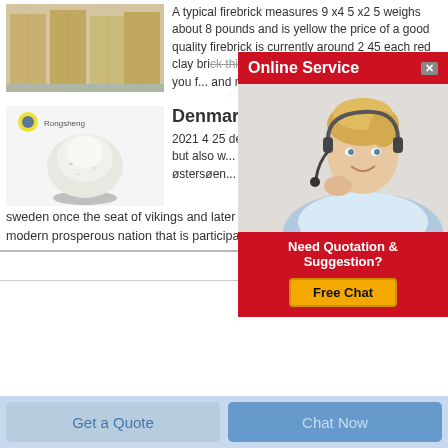[Figure (photo): Stack of light-colored rectangular firebricks on a surface]
A typical firebrick measures 9 x4 5 x2 5 weighs about 8 pounds and is yellow the price of a good quality firebrick is currently around 2 45 each red clay brick this is the traditional red clay brick that you f... and masonry suppl...
[Figure (photo): White powder mounded in a rounded pile on a metallic stand, with Rongsheng logo in top left]
Denmark
2021 4 25 denmark the main part of it is germany but also w... including the two m... funen in østersøen...
sweden once the seat of vikings and later a major nort... has evolved into a modern prosperous nation that is participating in the general
Get Price
[Figure (screenshot): Online Service popup overlay with red banner, customer service representative photo wearing headset, and Need Quotation & Suggestion Free Chat button]
Get a Quote
Chat Now